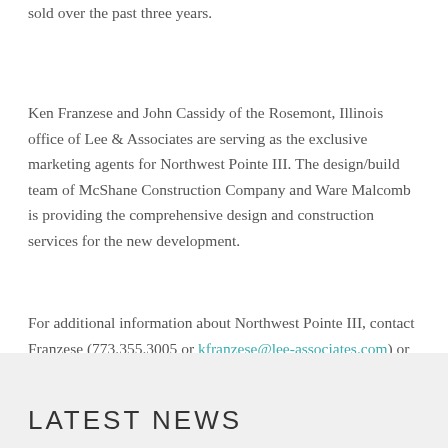sold over the past three years.
Ken Franzese and John Cassidy of the Rosemont, Illinois office of Lee & Associates are serving as the exclusive marketing agents for Northwest Pointe III. The design/build team of McShane Construction Company and Ware Malcomb is providing the comprehensive design and construction services for the new development.
For additional information about Northwest Pointe III, contact Franzese (773.355.3005 or kfranzese@lee-associates.com) or Cassidy (773.355.3006 or jcassidy@lee-associates.com).
LATEST NEWS